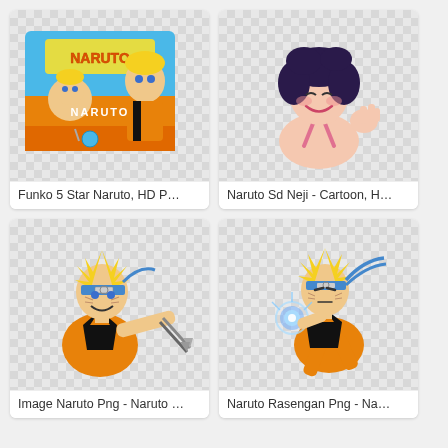[Figure (illustration): Funko 5 Star Naruto collectible toy box with chibi Naruto figure and accessories on a checkered background]
Funko 5 Star Naruto, HD P…
[Figure (illustration): Naruto SD Neji cartoon character illustration - smiling girl with dark curly hair on checkered background]
Naruto Sd Neji - Cartoon, H…
[Figure (illustration): Naruto character PNG image - Naruto holding kunai weapons in action pose on checkered background]
Image Naruto Png - Naruto …
[Figure (illustration): Naruto Rasengan PNG - Naruto running with glowing blue rasengan energy ball on checkered background]
Naruto Rasengan Png - Na…